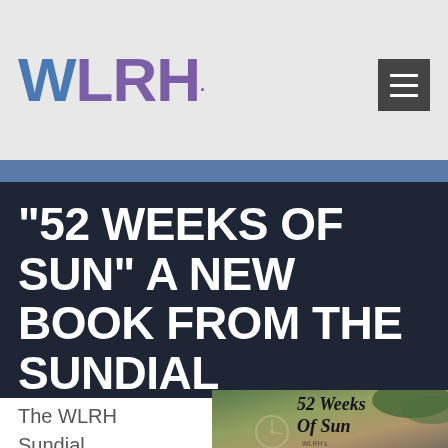WLRH
"52 WEEKS OF SUN" A NEW BOOK FROM THE SUNDIAL WRITERS CORNER
The WLRH Sundial Writers Corner is one of the station's longest running
[Figure (photo): Book cover showing '52 Weeks Of Sun' with a clock and fern/plant background, WLRH branding at bottom]